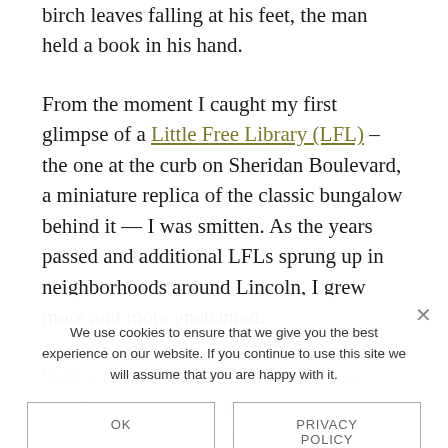birch leaves falling at his feet, the man held a book in his hand.
From the moment I caught my first glimpse of a Little Free Library (LFL) – the one at the curb on Sheridan Boulevard, a miniature replica of the classic bungalow behind it — I was smitten. As the years passed and additional LFLs sprung up in neighborhoods around Lincoln, I grew more and more enchanted.
We use cookies to ensure that we give you the best experience on our website. If you continue to use this site we will assume that you are happy with it.
OK
PRIVACY POLICY
built a front of... ...address as a tribute to... ...a former teacher who loved reading... ...his from yard and filled it with books. It is neighbors...